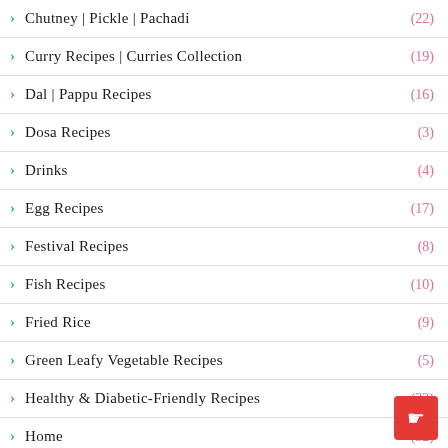Chutney | Pickle | Pachadi (22)
Curry Recipes | Curries Collection (19)
Dal | Pappu Recipes (16)
Dosa Recipes (3)
Drinks (4)
Egg Recipes (17)
Festival Recipes (8)
Fish Recipes (10)
Fried Rice (9)
Green Leafy Vegetable Recipes (5)
Healthy & Diabetic-Friendly Recipes (33)
Home (52)
Idli Recipes
Indo Chinese Recipes